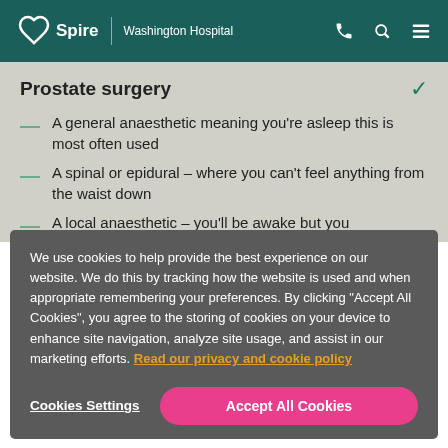Spire | Washington Hospital
Prostate surgery
A general anaesthetic meaning you're asleep this is most often used
A spinal or epidural – where you can't feel anything from the waist down
A local anaesthetic – you'll be awake but you
We use cookies to help provide the best experience on our website. We do this by tracking how the website is used and when appropriate remembering your preferences. By clicking "Accept All Cookies", you agree to the storing of cookies on your device to enhance site navigation, analyze site usage, and assist in our marketing efforts. Read our privacy and cookie policy
Cookies Settings
Accept All Cookies